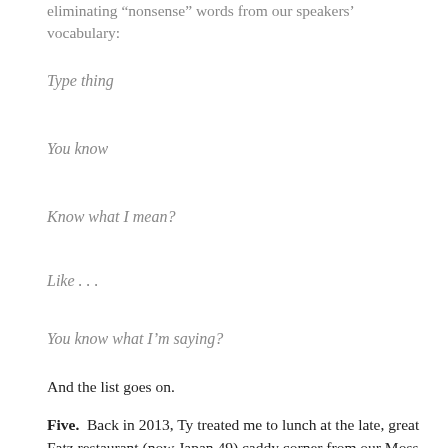eliminating “nonsense” words from our speakers’ vocabulary:
Type thing
You know
Know what I mean?
Like . . .
You know what I’m saying?
And the list goes on.
Five.  Back in 2013, Ty treated me to lunch at the late, great Fatz restaurant (now Japan 49) caddy corner from our Moss Campus.  I was a